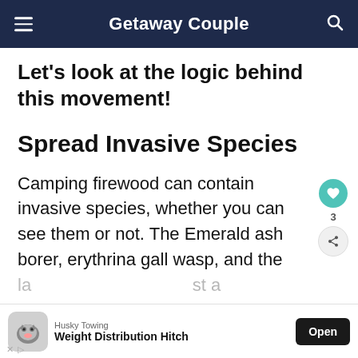Getaway Couple
Let's look at the logic behind this movement!
Spread Invasive Species
Camping firewood can contain invasive species, whether you can see them or not. The Emerald ash borer, erythrina gall wasp, and the la... st a fe...